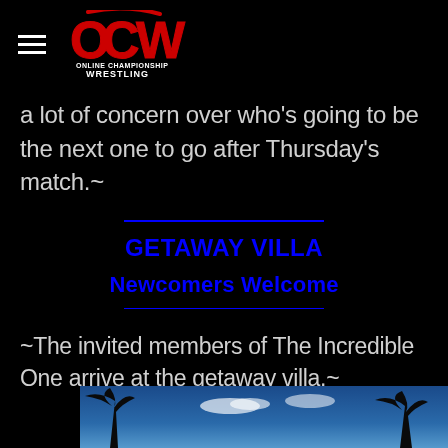OCW Online Championship Wrestling
a lot of concern over who's going to be the next one to go after Thursday's match.~
GETAWAY VILLA
Newcomers Welcome
~The invited members of The Incredible One arrive at the getaway villa.~
[Figure (photo): Tropical scene with palm tree silhouettes against a blue sky]